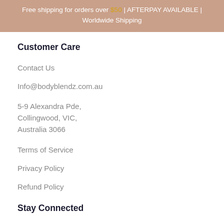Free shipping for orders over $50 | AFTERPAY AVAILABLE | Worldwide Shipping
Customer Care
Contact Us
Info@bodyblendz.com.au
5-9 Alexandra Pde,
Collingwood, VIC,
Australia 3066
Terms of Service
Privacy Policy
Refund Policy
Stay Connected